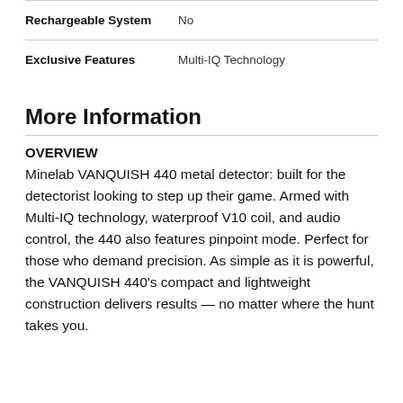| Rechargeable System | No |
| Exclusive Features | Multi-IQ Technology |
More Information
OVERVIEW
Minelab VANQUISH 440 metal detector: built for the detectorist looking to step up their game. Armed with Multi-IQ technology, waterproof V10 coil, and audio control, the 440 also features pinpoint mode. Perfect for those who demand precision. As simple as it is powerful, the VANQUISH 440's compact and lightweight construction delivers results — no matter where the hunt takes you.